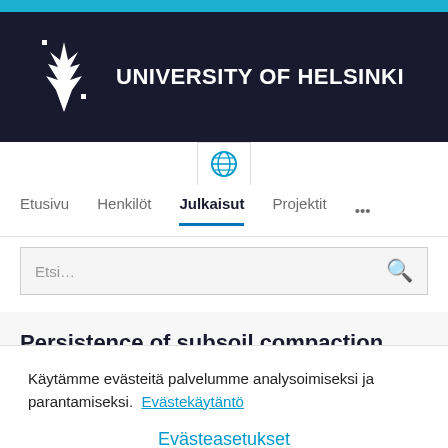[Figure (logo): University of Helsinki logo with white flame/crown emblem on dark navy background header bar, with a thin cyan top strip]
UNIVERSITY OF HELSINKI
[Figure (illustration): Globe icon in a white tab below the header]
Etusivu   Henkilöt   Julkaisut   Projektit   ...
Etsi...
Persistence of subsoil compaction
Käytämme evästeitä palvelumme analysoimiseksi ja parantamiseksi.  Evästekäytäntö
Evästeasetukset